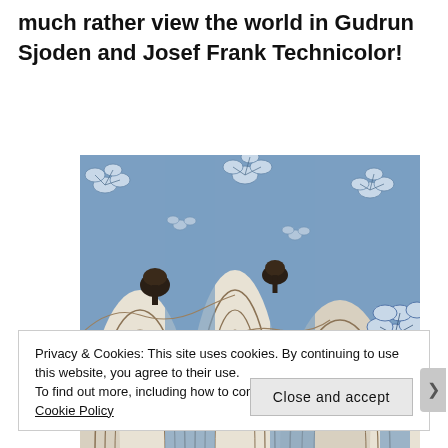much rather view the world in Gudrun Sjoden and Josef Frank Technicolor!
[Figure (photo): Close-up photograph of a decorative fabric/textile with a blue, cream, and brown pattern featuring stylized mountains, leaves, and botanical motifs in a Josef Frank style.]
Privacy & Cookies: This site uses cookies. By continuing to use this website, you agree to their use.
To find out more, including how to control cookies, see here: Cookie Policy
Close and accept